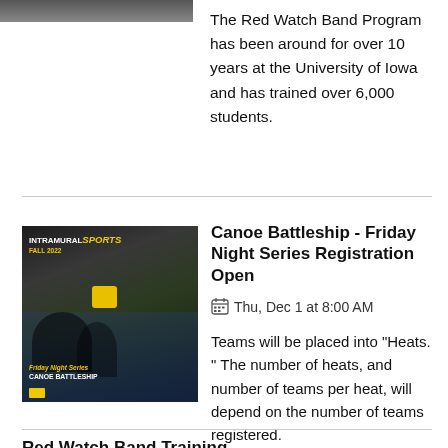[Figure (photo): Partial image visible at top of page, appears to be a person, cropped]
The Red Watch Band Program has been around for over 10 years at the University of Iowa and has trained over 6,000 students.
[Figure (photo): Intramural sports poster showing canoe battleship event with people in a pool, yellow banner visible, text reads INTRAMURAL SPORTS and CANOE BATTLESHIP]
Canoe Battleship - Friday Night Series Registration Open
Thu, Dec 1 at 8:00 AM
Teams will be placed into "Heats. " The number of heats, and number of teams per heat, will depend on the number of teams registered.
Red Watch Band Training